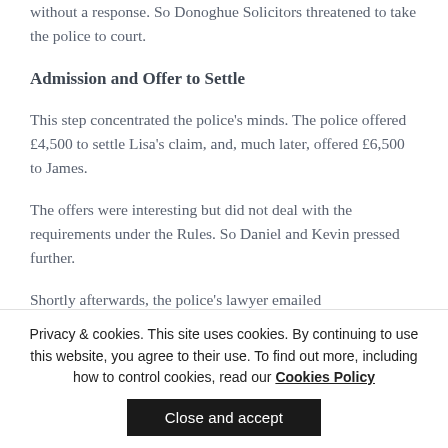without a response. So Donoghue Solicitors threatened to take the police to court.
Admission and Offer to Settle
This step concentrated the police's minds. The police offered £4,500 to settle Lisa's claim, and, much later, offered £6,500 to James.
The offers were interesting but did not deal with the requirements under the Rules. So Daniel and Kevin pressed further.
Shortly afterwards, the police's lawyer emailed
Privacy & cookies. This site uses cookies. By continuing to use this website, you agree to their use. To find out more, including how to control cookies, read our Cookies Policy
Close and accept